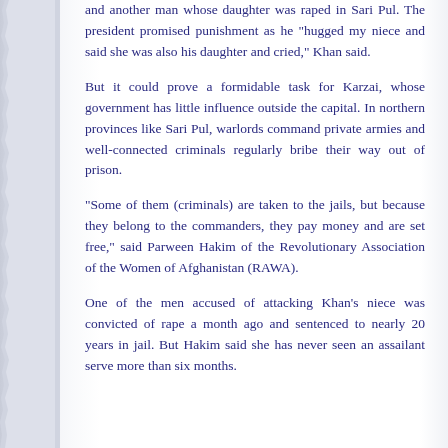and another man whose daughter was raped in Sari Pul. The president promised punishment as he "hugged my niece and said she was also his daughter and cried," Khan said.
But it could prove a formidable task for Karzai, whose government has little influence outside the capital. In northern provinces like Sari Pul, warlords command private armies and well-connected criminals regularly bribe their way out of prison.
"Some of them (criminals) are taken to the jails, but because they belong to the commanders, they pay money and are set free," said Parween Hakim of the Revolutionary Association of the Women of Afghanistan (RAWA).
One of the men accused of attacking Khan's niece was convicted of rape a month ago and sentenced to nearly 20 years in jail. But Hakim said she has never seen an assailant serve more than six months.